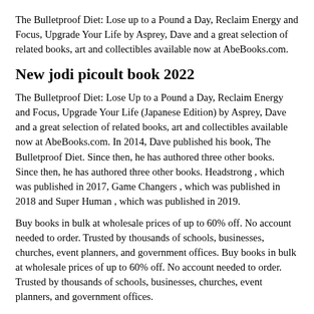The Bulletproof Diet: Lose up to a Pound a Day, Reclaim Energy and Focus, Upgrade Your Life by Asprey, Dave and a great selection of related books, art and collectibles available now at AbeBooks.com.
New jodi picoult book 2022
The Bulletproof Diet: Lose Up to a Pound a Day, Reclaim Energy and Focus, Upgrade Your Life (Japanese Edition) by Asprey, Dave and a great selection of related books, art and collectibles available now at AbeBooks.com. In 2014, Dave published his book, The Bulletproof Diet. Since then, he has authored three other books. Since then, he has authored three other books. Headstrong , which was published in 2017, Game Changers , which was published in 2018 and Super Human , which was published in 2019.
Buy books in bulk at wholesale prices of up to 60% off. No account needed to order. Trusted by thousands of schools, businesses, churches, event planners, and government offices. Buy books in bulk at wholesale prices of up to 60% off. No account needed to order. Trusted by thousands of schools, businesses, churches, event planners, and government offices.
The Bulletproof Diet: Lose Up to a Pound a Day, Reclaim Energy and Focus, Upgrade Your Life (Japanese Edition) by Asprey, D...